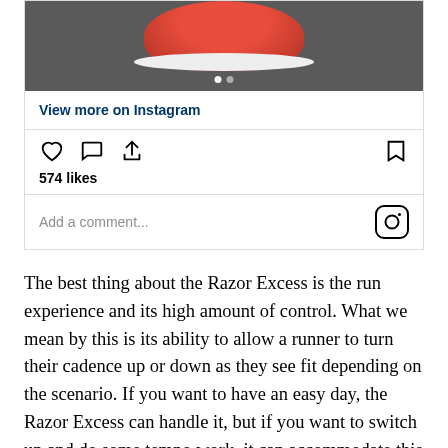[Figure (photo): Instagram post showing a red running shoe sole against dark asphalt surface, with pagination dots visible]
View more on Instagram
574 likes
Add a comment...
The best thing about the Razor Excess is the run experience and its high amount of control. What we mean by this is its ability to allow a runner to turn their cadence up or down as they see fit depending on the scenario. If you want to have an easy day, the Razor Excess can handle it, but if you want to switch up and do some tempo work, it can accommodate this as well. The...